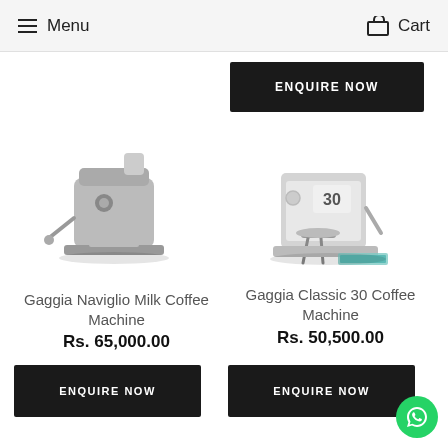Menu   Cart
[Figure (screenshot): ENQUIRE NOW button (partial, top right)]
[Figure (photo): Gaggia Naviglio Milk Coffee Machine product image]
Gaggia Naviglio Milk Coffee Machine
Rs. 65,000.00
[Figure (photo): Gaggia Classic 30 Coffee Machine product image]
Gaggia Classic 30 Coffee Machine
Rs. 50,500.00
[Figure (other): ENQUIRE NOW button for Gaggia Naviglio Milk Coffee Machine]
[Figure (other): ENQUIRE NOW button for Gaggia Classic 30 Coffee Machine]
[Figure (other): WhatsApp chat button (green circle, bottom right)]